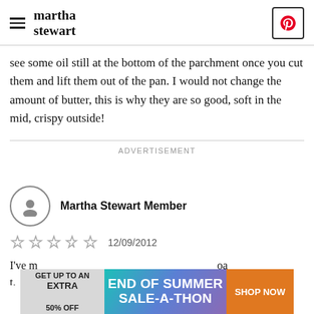martha stewart
see some oil still at the bottom of the parchment once you cut them and lift them out of the pan. I would not change the amount of butter, this is why they are so good, soft in the mid, crispy outside!
ADVERTISEMENT
Martha Stewart Member
☆☆☆☆☆  12/09/2012
[Figure (infographic): Advertisement banner: GET UP TO AN EXTRA 50% OFF | END OF SUMMER SALE-A-THON | SHOP NOW]
I've m... ...oa t(...